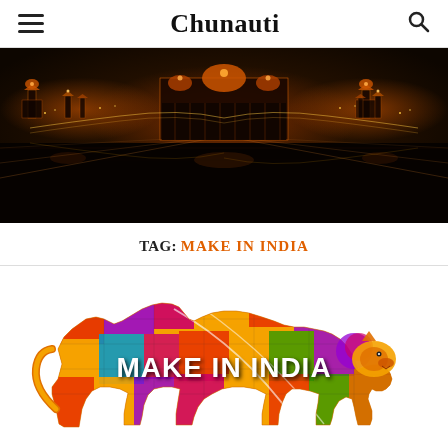Chunauti
[Figure (photo): Night photo of an illuminated government building complex (Rajpath/Kartavya Path, New Delhi) with lights reflecting on water, symmetric composition]
TAG: MAKE IN INDIA
[Figure (logo): Make in India logo — a colorful lion silhouette filled with industrial imagery and the text MAKE IN INDIA in white bold letters]